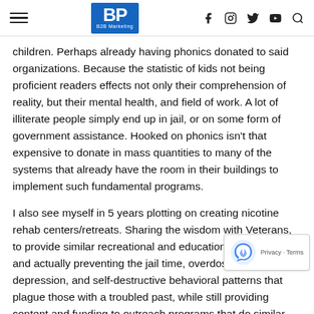BP B2B Marketing
children. Perhaps already having phonics donated to said organizations. Because the statistic of kids not being proficient readers effects not only their comprehension of reality, but their mental health, and field of work. A lot of illiterate people simply end up in jail, or on some form of government assistance. Hooked on phonics isn't that expensive to donate in mass quantities to many of the systems that already have the room in their buildings to implement such fundamental programs.
I also see myself in 5 years plotting on creating nicotine rehab centers/retreats. Sharing the wisdom with Veterans, to provide similar recreational and educational programs, and actually preventing the jail time, overdoses, suicides, depression, and self-destructive behavioral patterns that plague those with a troubled past, while still providing content and funding to outreach programs that do similar things. Essentially, in 5 years, I see myself making that